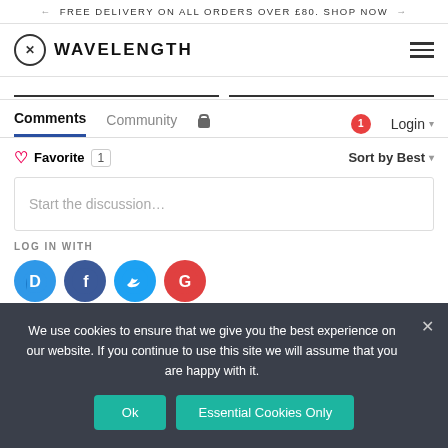← FREE DELIVERY ON ALL ORDERS OVER £80. SHOP NOW →
[Figure (logo): Wavelength logo with circled X icon and bold uppercase WAVELENGTH text, plus hamburger menu icon on right]
Comments   Community   🔒   1   Login ▾
♡ Favorite  1    Sort by Best ▾
Start the discussion…
LOG IN WITH
[Figure (illustration): Four social login icons: Disqus (blue D with speech bubble), Facebook (dark blue F), Twitter (light blue bird), Google (red G)]
We use cookies to ensure that we give you the best experience on our website. If you continue to use this site we will assume that you are happy with it.
Ok   Essential Cookies Only